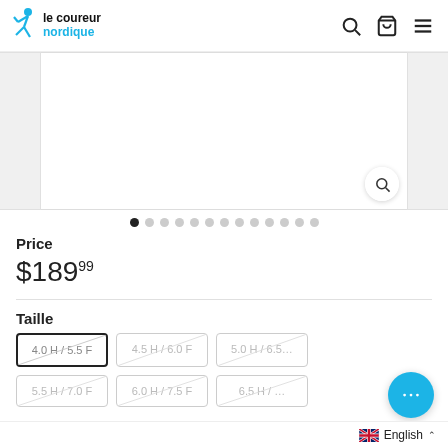le coureur nordique — header with search, cart, menu icons
[Figure (photo): Product image carousel with zoom button; left and right side thumbnails visible; main central white panel with magnifying glass zoom button at bottom-right]
● ○ ○ ○ ○ ○ ○ ○ ○ ○ ○ ○ ○ (carousel dots, first active)
Price
$189.99
Taille
4.0 H / 5.5 F (selected)
4.5 H / 6.0 F
5.0 H / 6.5 F
5.5 H / 7.0 F
6.0 H / 7.5 F
6.5 H / ...
English